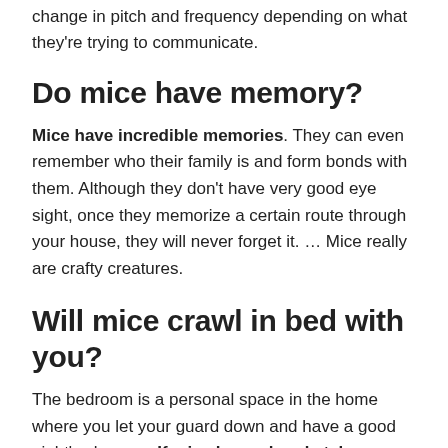change in pitch and frequency depending on what they're trying to communicate.
Do mice have memory?
Mice have incredible memories. They can even remember who their family is and form bonds with them. Although they don't have very good eye sight, once they memorize a certain route through your house, they will never forget it. … Mice really are crafty creatures.
Will mice crawl in bed with you?
The bedroom is a personal space in the home where you let your guard down and have a good night's sleep. … If mice have already taken refuge in the bedroom, there's a chance that they will crawl on you in bed. They typically do this when the fastest way to get from one place to the other